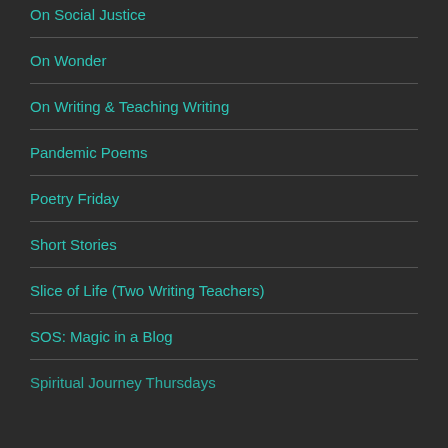On Social Justice
On Wonder
On Writing & Teaching Writing
Pandemic Poems
Poetry Friday
Short Stories
Slice of Life (Two Writing Teachers)
SOS: Magic in a Blog
Spiritual Journey Thursdays